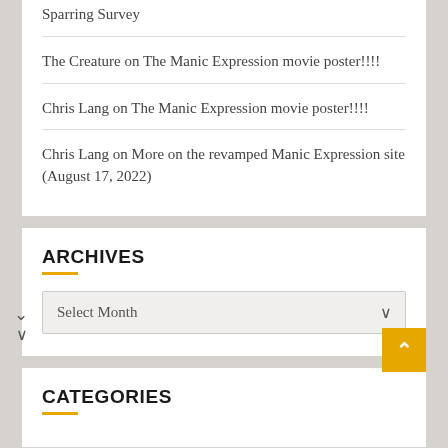Sparring Survey
The Creature on The Manic Expression movie poster!!!!
Chris Lang on The Manic Expression movie poster!!!!
Chris Lang on More on the revamped Manic Expression site (August 17, 2022)
ARCHIVES
Select Month
CATEGORIES